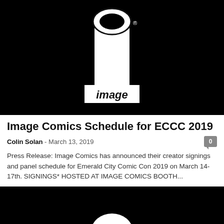[Figure (logo): Image Comics logo — white stylized 'i' with oval top and rectangular body on black background, with 'image' italic text below in black on white rectangle]
Image Comics Schedule for ECCC 2019
Colin Solan  -  March 13, 2019
Press Release: Image Comics has announced their creator signings and panel schedule for Emerald City Comic Con 2019 on March 14-17th. SIGNINGS* HOSTED AT IMAGE COMICS BOOTH...
[Figure (logo): Partial Image Comics logo on black background, bottom of page, showing bottom portion of white oval shape]